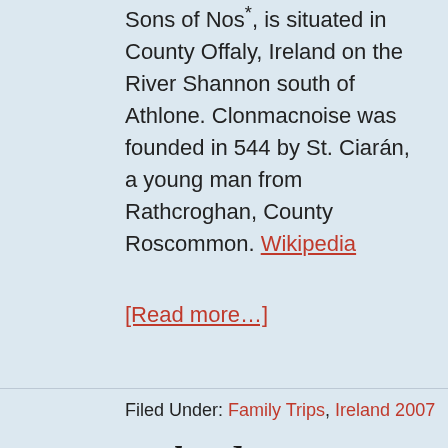Sons of Nos*, is situated in County Offaly, Ireland on the River Shannon south of Athlone. Clonmacnoise was founded in 544 by St. Ciarán, a young man from Rathcroghan, County Roscommon. Wikipedia
[Read more…]
Filed Under: Family Trips, Ireland 2007
Ireland 2007 – Bunnen